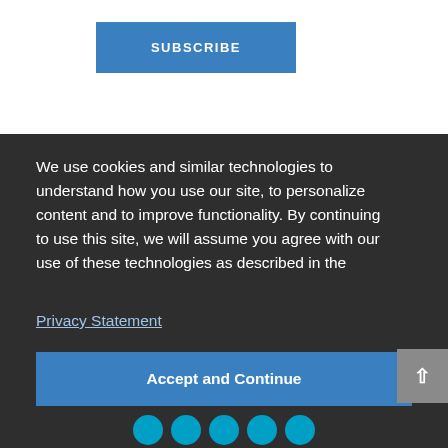[Figure (other): Blue SUBSCRIBE button on white background]
We use cookies and similar technologies to understand how you use our site, to personalize content and to improve functionality. By continuing to use this site, we will assume you agree with our use of these technologies as described in the
Privacy Statement
[Figure (other): Accept and Continue blue button]
[Figure (other): Social media icons at bottom (teal circles)]